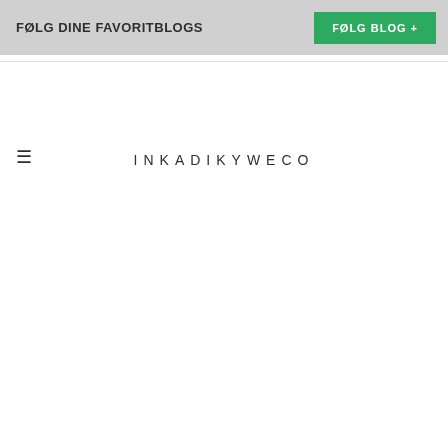FØLG DINE FAVORITBLOGS
FØLG BLOG +
☰
INKADIKYWECO